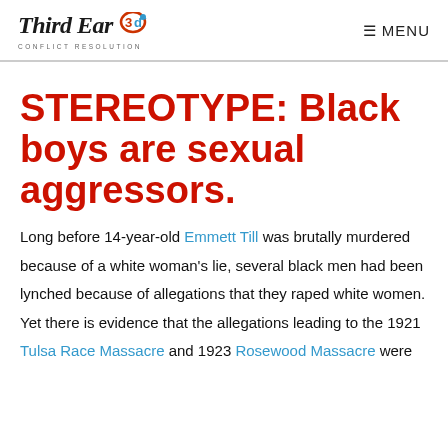Third Ear Conflict Resolution — MENU
STEREOTYPE: Black boys are sexual aggressors.
Long before 14-year-old Emmett Till was brutally murdered because of a white woman's lie, several black men had been lynched because of allegations that they raped white women. Yet there is evidence that the allegations leading to the 1921 Tulsa Race Massacre and 1923 Rosewood Massacre were